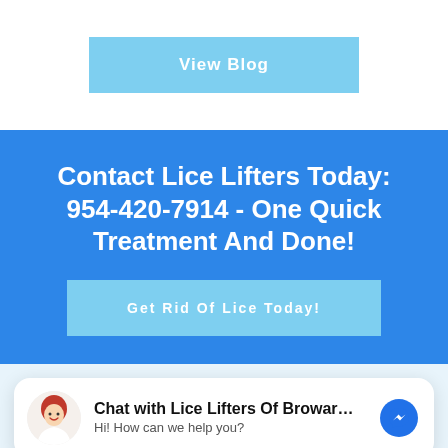View Blog
Contact Lice Lifters Today: 954-420-7914 - One Quick Treatment And Done!
Get Rid Of Lice Today!
Chat with Lice Lifters Of Broward C...
Hi! How can we help you?
Lice Lifters is the leading provider of professional head lice removal products and services. Talk to us today about owning a Lice Lifter's